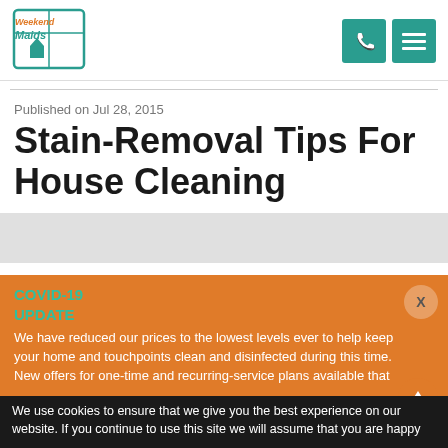[Figure (logo): Weekend Maids logo with house icon, teal border, orange and teal text]
[Figure (other): Teal phone icon button and teal hamburger menu button in header]
Published on Jul 28, 2015
Stain-Removal Tips For House Cleaning
[Figure (photo): Partial image with light gray background visible at bottom of article area]
COVID-19 UPDATE
We have reduced our prices to the lowest levels ever to help keep your home and touchpoints clean and disinfected during this time. New offers for one-time and recurring-service plans available that...
We use cookies to ensure that we give you the best experience on our website. If you continue to use this site we will assume that you are happy